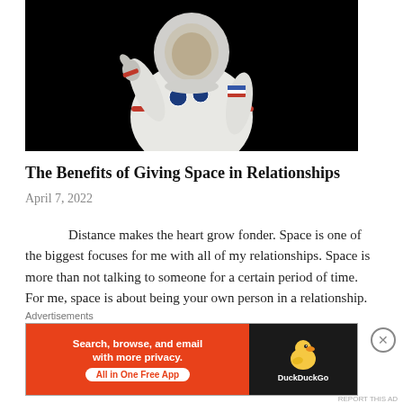[Figure (photo): Photo of a person in a white NASA astronaut spacesuit with red stripes and patches, giving a thumbs up gesture, against a black background.]
The Benefits of Giving Space in Relationships
April 7, 2022
Distance makes the heart grow fonder. Space is one of the biggest focuses for me with all of my relationships. Space is more than not talking to someone for a certain period of time. For me, space is about being your own person in a relationship.
Advertisements
[Figure (screenshot): DuckDuckGo advertisement banner: orange left section with text 'Search, browse, and email with more privacy. All in One Free App' and dark right section with DuckDuckGo duck logo and brand name.]